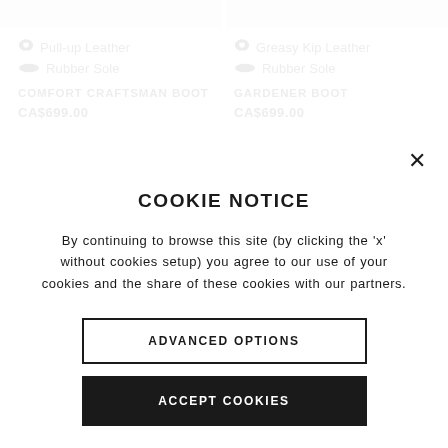[Figure (screenshot): Top grey bar split into two columns representing product image placeholders]
Pull-up Leather
Rubber Sole
COMFORT CRAFTSMAN BOOT
CA$699.00
Greasy Kip Leather
Rubber Sole
GARDENER BOOT
CA$699.00
COOKIE NOTICE
By continuing to browse this site (by clicking the 'x' without cookies setup) you agree to our use of your cookies and the share of these cookies with our partners.
ADVANCED OPTIONS
ACCEPT COOKIES